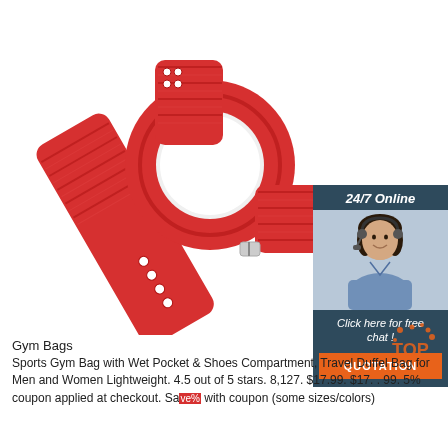[Figure (photo): Red fitness wristband/tracker with striped rubber strap and round white face, shown at an angle on white background]
[Figure (infographic): 24/7 Online chat widget with woman wearing headset, 'Click here for free chat!' text, and orange QUOTATION button]
Gym Bags
Sports Gym Bag with Wet Pocket & Shoes Compartment, Travel Duffel Bag for Men and Women Lightweight. 4.5 out of 5 stars. 8,127. $17.99. $17. . 99. 5% coupon applied at checkout. Sa⬜% with coupon (some sizes/colors)